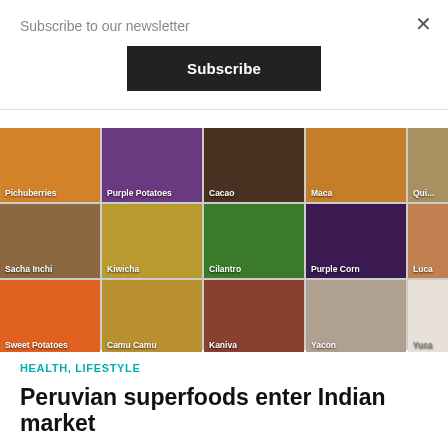Subscribe to our newsletter
Subscribe
×
[Figure (photo): Grid of Peruvian superfoods in compartments: Pichuberries, Purple Potatoes, Cacao, Maca, Quinoa (partial), Sacha Inchi, Kiwicha, Cilantro, Purple Corn, Luca (partial), Sweet Potatoes, Camu Camu, Kaniva, Yacon, Yuca]
HEALTH, LIFESTYLE
Peruvian superfoods enter Indian market
New Delhi, June 30: Peruvian superfoods at their simplest